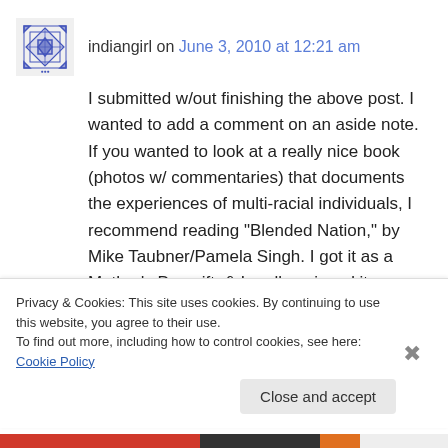indiangirl on June 3, 2010 at 12:21 am
I submitted w/out finishing the above post. I wanted to add a comment on an aside note. If you wanted to look at a really nice book (photos w/ commentaries) that documents the experiences of multi-racial individuals, I recommend reading “Blended Nation,” by Mike Taubner/Pamela Singh. I got it as a Mother’s Day gift, & I really enjoyed it
Privacy & Cookies: This site uses cookies. By continuing to use this website, you agree to their use.
To find out more, including how to control cookies, see here: Cookie Policy
Close and accept